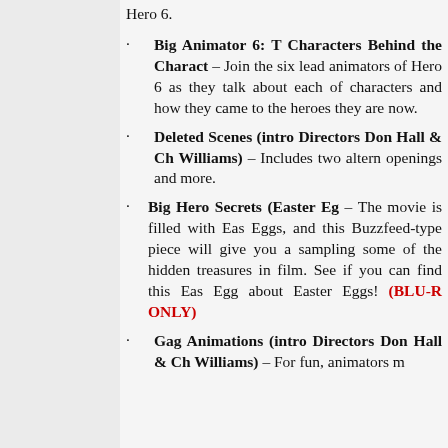Hero 6.
Big Animator 6: The Characters Behind the Characters – Join the six lead animators of Hero 6 as they talk about each of characters and how they came to the heroes they are now.
Deleted Scenes (intro Directors Don Hall & Ch Williams) – Includes two alternative openings and more.
Big Hero Secrets (Easter Eg – The movie is filled with Easter Eggs, and this Buzzfeed-type piece will give you a sampling of some of the hidden treasures in the film. See if you can find this Easter Egg about Easter Eggs! (BLU-RAY ONLY)
Gag Animations (intro Directors Don Hall & Ch Williams) – For fun, animators ma...